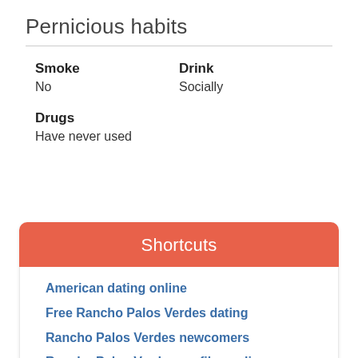Pernicious habits
Smoke
No
Drink
Socially
Drugs
Have never used
Shortcuts
American dating online
Free Rancho Palos Verdes dating
Rancho Palos Verdes newcomers
Rancho Palos Verdes profiles online now
Date Rancho Palos Verdes ladies